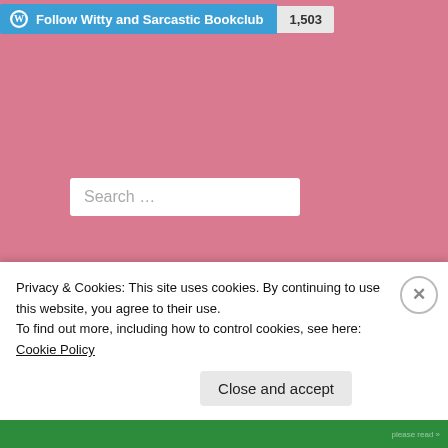[Figure (screenshot): WordPress Follow button showing 'Follow Witty and Sarcastic Bookclub' with follower count 1,503]
[Figure (screenshot): Search input box with placeholder text 'Search ...']
Recent Comments
Dragonlance Reading... on Dragonlance Reading Order 2022
Friday Fiction – Run... on Wyldblood Maga...
Privacy & Cookies: This site uses cookies. By continuing to use this website, you agree to their use.
To find out more, including how to control cookies, see here: Cookie Policy
Close and accept